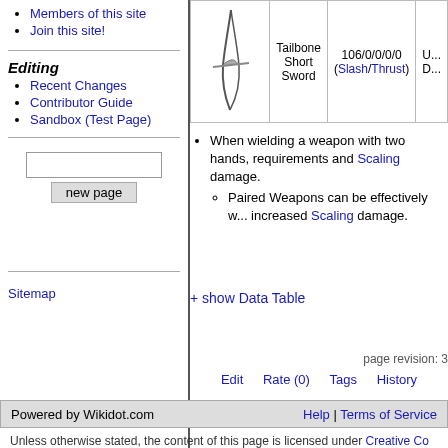Members of this site
Join this site!
Editing
Recent Changes
Contributor Guide
Sandbox (Test Page)
[Figure (other): New page input box and button]
Sitemap
| [image] | Tailbone Short Sword | 106/0/0/0/0 (Slash/Thrust) | U... D... |
| --- | --- | --- | --- |
When wielding a weapon with two hands, requirements and Scaling damage.
Paired Weapons can be effectively w... increased Scaling damage.
+ show Data Table
page revision: 3
Edit   Rate (0)   Tags   History
Powered by Wikidot.com   Help | Terms of Service
Unless otherwise stated, the content of this page is licensed under Creative Co...